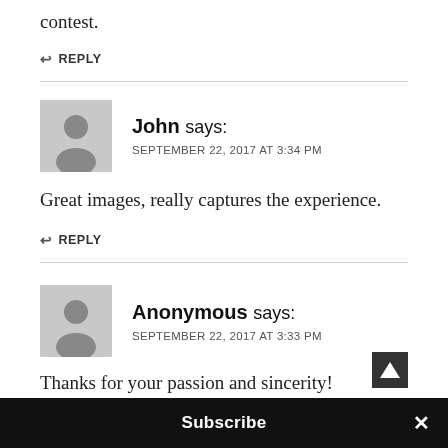contest.
↩ REPLY
John says:
SEPTEMBER 22, 2017 AT 3:34 PM
Great images, really captures the experience.
↩ REPLY
Anonymous says:
SEPTEMBER 22, 2017 AT 3:33 PM
Thanks for your passion and sincerity!
Subscribe